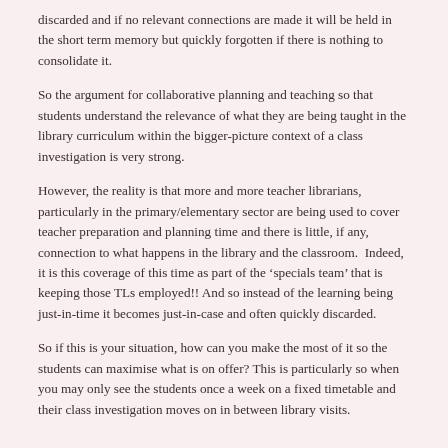discarded and if no relevant connections are made it will be held in the short term memory but quickly forgotten if there is nothing to consolidate it.
So the argument for collaborative planning and teaching so that students understand the relevance of what they are being taught in the library curriculum within the bigger-picture context of a class investigation is very strong.
However, the reality is that more and more teacher librarians, particularly in the primary/elementary sector are being used to cover teacher preparation and planning time and there is little, if any, connection to what happens in the library and the classroom.  Indeed, it is this coverage of this time as part of the ‘specials team’ that is keeping those TLs employed!! And so instead of the learning being just-in-time it becomes just-in-case and often quickly discarded.
So if this is your situation, how can you make the most of it so the students can maximise what is on offer? This is particularly so when you may only see the students once a week on a fixed timetable and their class investigation moves on in between library visits.